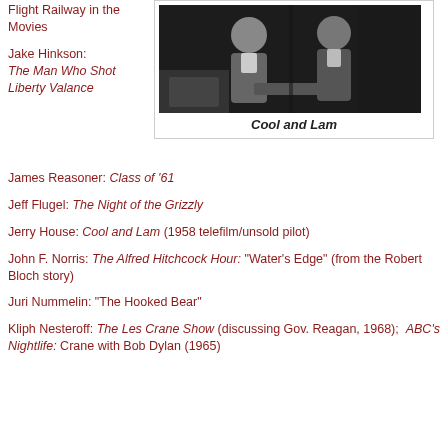Flight Railway in the Movies
[Figure (photo): Black and white photo of two people, Cool and Lam scene]
Cool and Lam
Jake Hinkson: The Man Who Shot Liberty Valance
James Reasoner: Class of '61
Jeff Flugel: The Night of the Grizzly
Jerry House: Cool and Lam (1958 telefilm/unsold pilot)
John F. Norris: The Alfred Hitchcock Hour: "Water's Edge" (from the Robert Bloch story)
Juri Nummelin: "The Hooked Bear"
Kliph Nesteroff: The Les Crane Show (discussing Gov. Reagan, 1968);  ABC's Nightlife: Crane with Bob Dylan (1965)